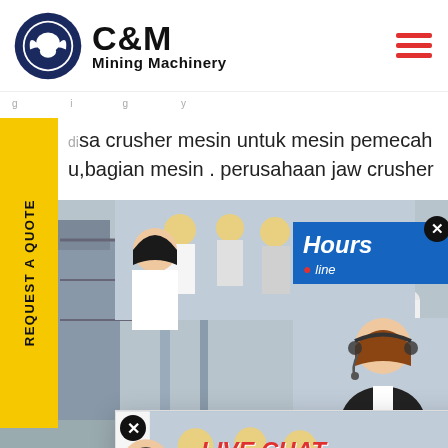[Figure (logo): C&M Mining Machinery logo with eagle/gear icon on left and bold text 'C&M Mining Machinery' on right]
sa crusher mesin untuk mesin pemecah u,bagian mesin . perusahaan jaw crusher ...
[Figure (screenshot): Website screenshot showing industrial machinery (large white cylindrical grinding mill) in the background, with a live chat popup overlay. The popup shows 'LIVE CHAT' in red/italic, 'Click for a Free Consultation', and two buttons: 'Chat now' (red) and 'Chat later' (dark). A customer service representative (woman with headset) is visible on the right side. A yellow vertical sidebar reads 'REQUEST A QUOTE'. Right panel shows '24 Hours online' banner and 'Click to Chat' bar.]